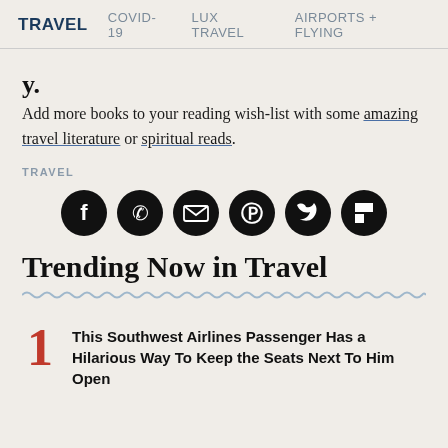TRAVEL  COVID-19  LUX TRAVEL  AIRPORTS + FLYING
Add more books to your reading wish-list with some amazing travel literature or spiritual reads.
TRAVEL
[Figure (infographic): Six black circular social media share icons: Facebook, WhatsApp, Email, Pinterest, Twitter, Flipboard]
Trending Now in Travel
1 This Southwest Airlines Passenger Has a Hilarious Way To Keep the Seats Next To Him Open